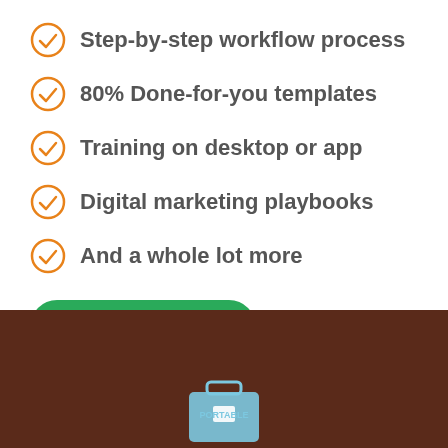Step-by-step workflow process
80% Done-for-you templates
Training on desktop or app
Digital marketing playbooks
And a whole lot more
[Figure (illustration): Green rounded button with plus icon and text 'Learn More']
[Figure (illustration): Dark brown background section at bottom with a portable toolkit icon partially visible]